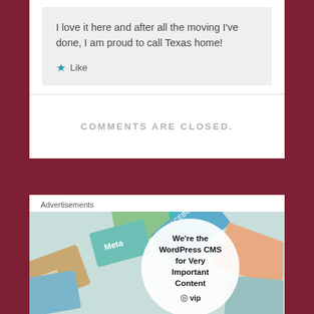I love it here and after all the moving I've done, I am proud to call Texas home!
★ Like
COMMENTS ARE CLOSED.
Advertisements
[Figure (photo): WordPress VIP advertisement showing business card logos with text: We're the WordPress CMS for Very Important Content, WP VIP logo, Learn more →]